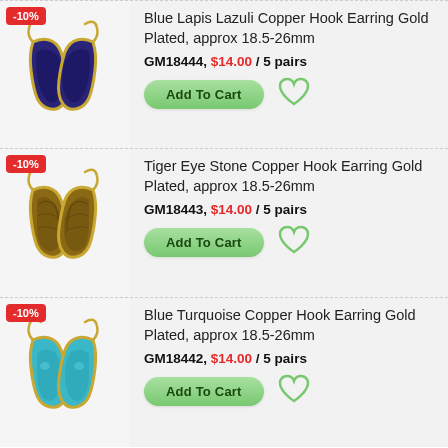[Figure (photo): Blue Lapis Lazuli copper hook earrings with gold plating, shown as a pair]
Blue Lapis Lazuli Copper Hook Earring Gold Plated, approx 18.5-26mm
GM18444, $14.00 / 5 pairs
Add To Cart
[Figure (photo): Tiger Eye Stone copper hook earrings with gold plating, shown as a pair]
Tiger Eye Stone Copper Hook Earring Gold Plated, approx 18.5-26mm
GM18443, $14.00 / 5 pairs
Add To Cart
[Figure (photo): Blue Turquoise copper hook earrings with gold plating, shown as a pair]
Blue Turquoise Copper Hook Earring Gold Plated, approx 18.5-26mm
GM18442, $14.00 / 5 pairs
Add To Cart